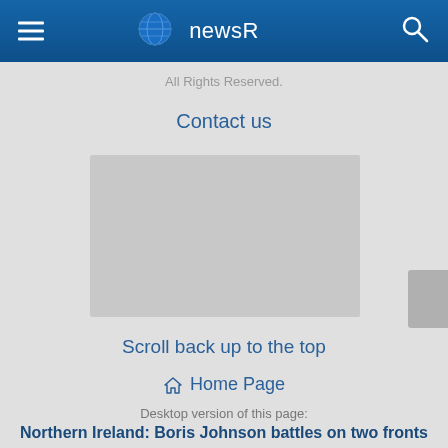newsR
All Rights Reserved.
Contact us
[Figure (photo): Placeholder image area in gray]
Scroll back up to the top
Home Page
Desktop version of this page:
Northern Ireland: Boris Johnson battles on two fronts as Brexit protocol returns to haunt him